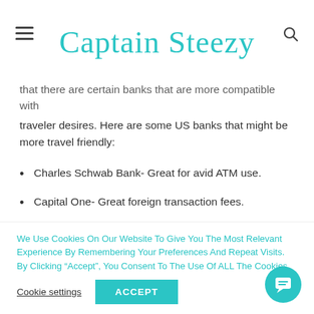Captain Steezy
that there are certain banks that are more compatible with traveler desires. Here are some US banks that might be more travel friendly:
Charles Schwab Bank- Great for avid ATM use.
Capital One- Great foreign transaction fees.
HSBC- Great for people who live outside of their
We Use Cookies On Our Website To Give You The Most Relevant Experience By Remembering Your Preferences And Repeat Visits. By Clicking “Accept”, You Consent To The Use Of ALL The Cookies.